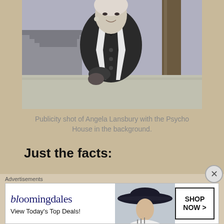[Figure (photo): Black and white publicity shot of Angela Lansbury standing outdoors, wearing a dark blazer with white trim, holding a small bag, with the Psycho House staircase visible in the background.]
Publicity shot of Angela Lansbury with the Psycho House in the background.
Just the facts:
Advertisements
[Figure (screenshot): Bloomingdale's advertisement banner reading 'bloomingdales View Today's Top Deals!' with a woman in a wide-brimmed hat and a 'SHOP NOW >' button.]